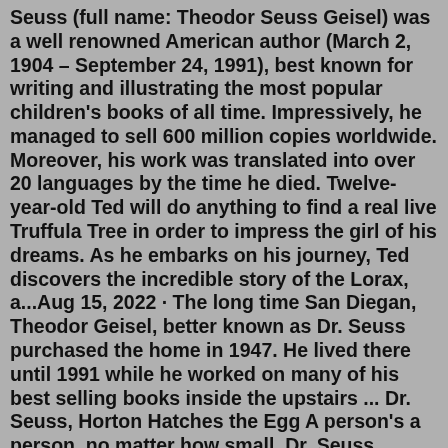Seuss (full name: Theodor Seuss Geisel) was a well renowned American author (March 2, 1904 – September 24, 1991), best known for writing and illustrating the most popular children's books of all time. Impressively, he managed to sell 600 million copies worldwide. Moreover, his work was translated into over 20 languages by the time he died. Twelve-year-old Ted will do anything to find a real live Truffula Tree in order to impress the girl of his dreams. As he embarks on his journey, Ted discovers the incredible story of the Lorax, a...Aug 15, 2022 · The long time San Diegan, Theodor Geisel, better known as Dr. Seuss purchased the home in 1947. He lived there until 1991 while he worked on many of his best selling books inside the upstairs ... Dr. Seuss, Horton Hatches the Egg A person's a person, no matter how small. Dr. Seuss, Horton Hears a Who You have brains in your head. You have feet in your shoes. You can steer yourself any direction you choose. You're on your own. And you know what you know. And YOU are the one who'll decide where to